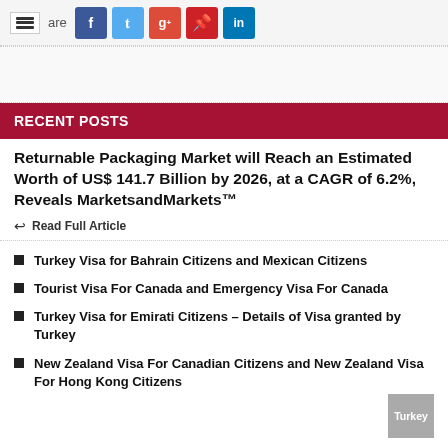Share
RECENT POSTS
Returnable Packaging Market will Reach an Estimated Worth of US$ 141.7 Billion by 2026, at a CAGR of 6.2%, Reveals MarketsandMarkets™
Read Full Article
Turkey Visa for Bahrain Citizens and Mexican Citizens
Tourist Visa For Canada and Emergency Visa For Canada
Turkey Visa for Emirati Citizens – Details of Visa granted by Turkey
New Zealand Visa For Canadian Citizens and New Zealand Visa For Hong Kong Citizens